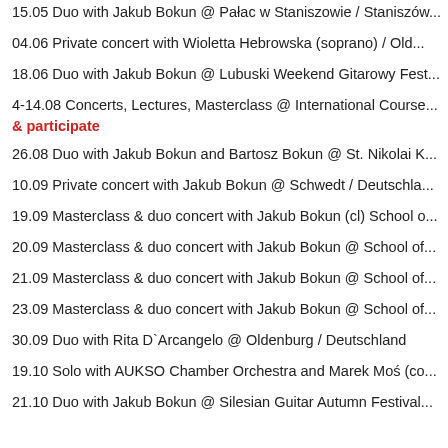15.05 Duo with Jakub Bokun @ Pałac w Staniszowie / Staniszów...
04.06 Private concert with Wioletta Hebrowska (soprano) / Old...
18.06 Duo with Jakub Bokun @ Lubuski Weekend Gitarowy Fest...
4-14.08 Concerts, Lectures, Masterclass @ International Course... & participate
26.08 Duo with Jakub Bokun and Bartosz Bokun @ St. Nikolai K...
10.09 Private concert with Jakub Bokun @ Schwedt / Deutschla...
19.09 Masterclass & duo concert with Jakub Bokun (cl) School o...
20.09 Masterclass & duo concert with Jakub Bokun @ School of...
21.09 Masterclass & duo concert with Jakub Bokun @ School of...
23.09 Masterclass & duo concert with Jakub Bokun @ School of...
30.09 Duo with Rita D`Arcangelo @ Oldenburg / Deutschland
19.10 Solo with AUKSO Chamber Orchestra and Marek Moś (co...
21.10 Duo with Jakub Bokun @ Silesian Guitar Autumn Festival...